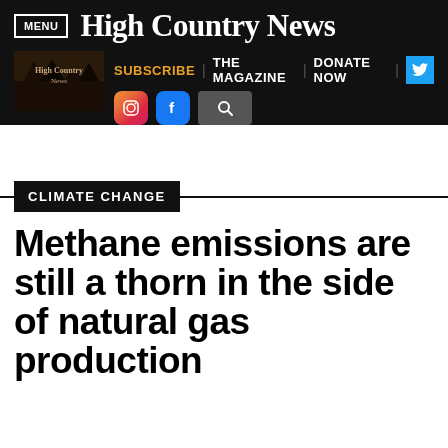MENU | High Country News
[Figure (screenshot): High Country News website navigation bar with logo, subscribe, the magazine, donate now links, Instagram, Facebook, and search icons]
CLIMATE CHANGE
Methane emissions are still a thorn in the side of natural gas production